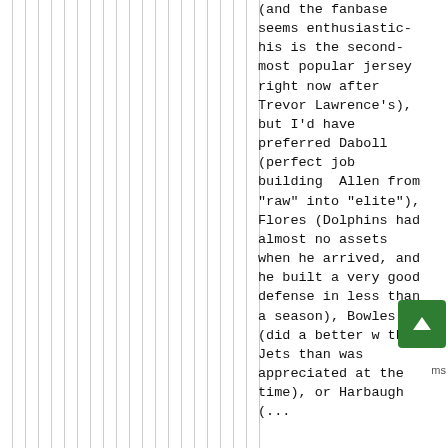(and the fanbase seems enthusiastic- his is the second-most popular jersey right now after Trevor Lawrence's), but I'd have preferred Daboll (perfect job building Allen from "raw" into "elite"), Flores (Dolphins had almost no assets when he arrived, and he built a very good defense in less than a season), Bowles (did a better w the Jets than was appreciated at the time), or Harbaugh (...